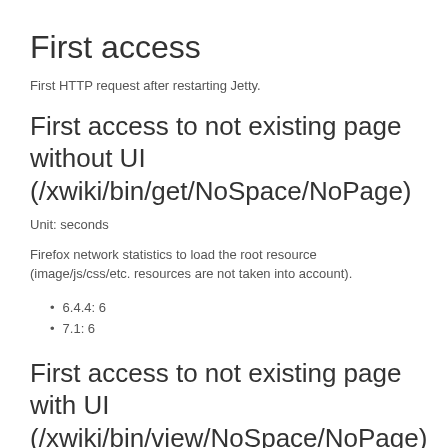First access
First HTTP request after restarting Jetty.
First access to not existing page without UI (/xwiki/bin/get/NoSpace/NoPage)
Unit: seconds
Firefox network statistics to load the root resource (image/js/css/etc. resources are not taken into account).
6.4.4: 6
7.1: 6
First access to not existing page with UI (/xwiki/bin/view/NoSpace/NoPage)
Unit: seconds